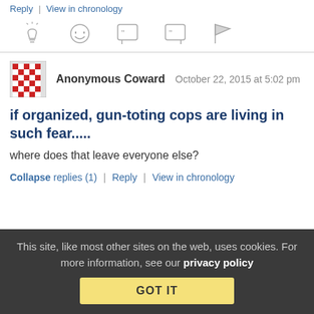Reply | View in chronology
[Figure (other): Icon toolbar with five icons: lightbulb, laugh emoji, open quote bubble, close quote bubble, flag]
Anonymous Coward   October 22, 2015 at 5:02 pm
if organized, gun-toting cops are living in such fear.....
where does that leave everyone else?
Collapse replies (1) | Reply | View in chronology
This site, like most other sites on the web, uses cookies. For more information, see our privacy policy  GOT IT